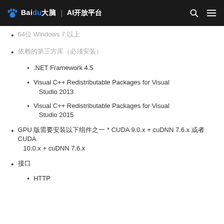百度大脑 | AI开放平台
64位 Windows 7 以上
依赖的第三方库（必须安装）
.NET Framework 4.5
Visual C++ Redistributable Packages for Visual Studio 2013
Visual C++ Redistributable Packages for Visual Studio 2015
GPU 版需要安装以下组件之一 * CUDA 9.0.x + cuDNN 7.6.x 或者 CUDA 10.0.x + cuDNN 7.6.x
接口
HTTP